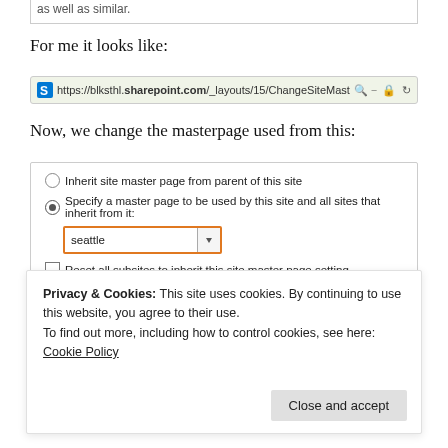[Figure (screenshot): Partial top border of a content box with truncated text 'as well as similar.']
For me it looks like:
[Figure (screenshot): Browser address bar showing URL: https://blksthl.sharepoint.com/_layouts/15/ChangeSiteMasterPage.aspx with SharePoint S icon and browser controls]
Now, we change the masterpage used from this:
[Figure (screenshot): SharePoint UI panel showing radio buttons for site master page options: 'Inherit site master page from parent of this site' and 'Specify a master page to be used by this site and all sites that inherit from it:' with a dropdown showing 'seattle' (highlighted in orange border), and a checkbox 'Reset all subsites to inherit this site master page setting']
Privacy & Cookies: This site uses cookies. By continuing to use this website, you agree to their use.
To find out more, including how to control cookies, see here: Cookie Policy